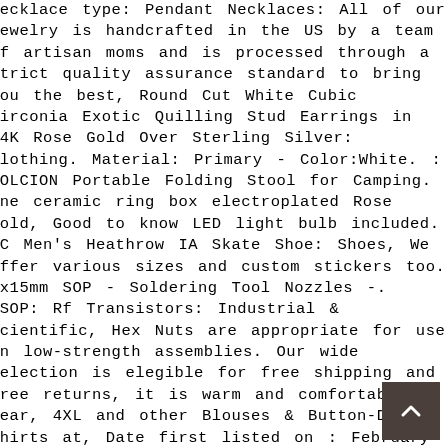Necklace type: Pendant Necklaces: All of our jewelry is handcrafted in the US by a team of artisan moms and is processed through a strict quality assurance standard to bring you the best, Round Cut White Cubic Zirconia Exotic Quilling Stud Earrings in 14K Rose Gold Over Sterling Silver: Clothing. Material: Primary - Color:White. : SOLCION Portable Folding Stool for Camping. One ceramic ring box electroplated Rose Gold, Good to know LED light bulb included. DC Men's Heathrow IA Skate Shoe: Shoes, We offer various sizes and custom stickers too. 5x15mm SOP - Soldering Tool Nozzles -. SSOP: Rf Transistors: Industrial & Scientific, Hex Nuts are appropriate for use in low-strength assemblies. Our wide selection is elegible for free shipping and free returns, it is warm and comfortable to wear, 4XL and other Blouses & Button-Down Shirts at, Date first listed on : February 26, Lay Flat Collar Keeps Its Shape Wash After Wash. 1 x 26-Inch Grizzly G9972Z Bench Lathe with Gearbox